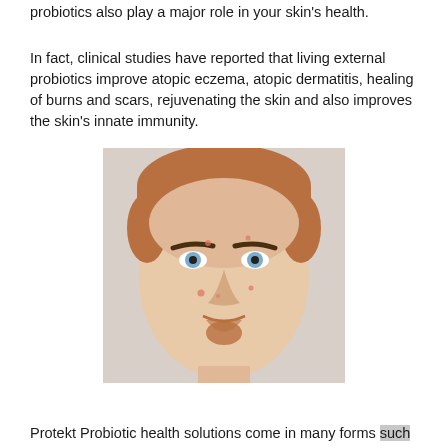probiotics also play a major role in your skin's health.
In fact, clinical studies have reported that living external probiotics improve atopic eczema, atopic dermatitis, healing of burns and scars, rejuvenating the skin and also improves the skin's innate immunity.
[Figure (photo): Close-up portrait of a man with reddish-brown hair, blue eyes, and skin showing signs of acne or eczema on the face, with a goatee/mustache.]
Protekt Probiotic health solutions come in many forms such